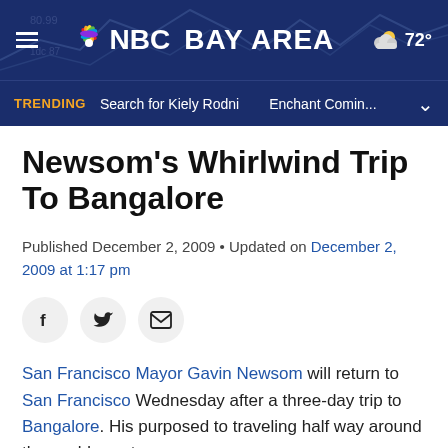NBC Bay Area — 72°
TRENDING  Search for Kiely Rodni  Enchant Comin...
Newsom's Whirlwind Trip To Bangalore
Published December 2, 2009 • Updated on December 2, 2009 at 1:17 pm
San Francisco Mayor Gavin Newsom will return to San Francisco Wednesday after a three-day trip to Bangalore. His purposed to traveling half way around the world was to